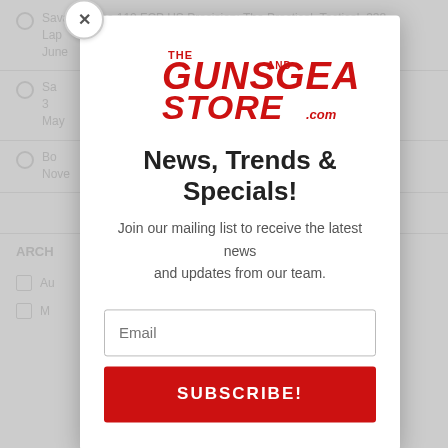Savage Arms 110 FCP HS Precision: The Practical, Tactical .338 Lapua MAC - Part 2 of 3
June
Savage Arms... 1 of 3
May
Bo...
Nove
ARCH
Au
M
[Figure (logo): The Guns and Gear Store .com logo in red lettering on white background]
News, Trends & Specials!
Join our mailing list to receive the latest news and updates from our team.
Email
SUBSCRIBE!